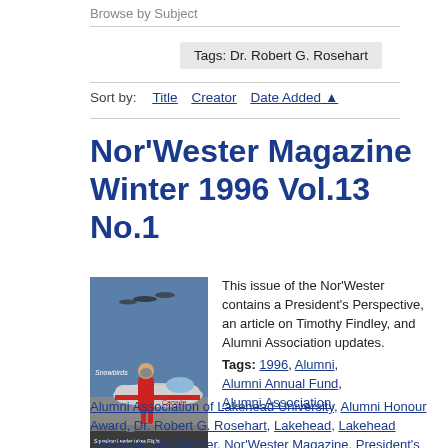Browse by Subject
Tags: Dr. Robert G. Rosehart
Sort by:   Title   Creator   Date Added ▲
Nor'Wester Magazine Winter 1996 Vol.13 No.1
[Figure (photo): Cover of Nor'Wester Magazine Winter 1996, showing a person in a red flight suit standing in front of a jet aircraft with military jets flying overhead]
This issue of the Nor'Wester contains a President's Perspective, an article on Timothy Findley, and Alumni Association updates. Tags: 1996, Alumni, Alumni Annual Fund, Alumni Association, Alumni Association of Lakehead University, Alumni Honour Award, Dr. Robert G. Rosehart, Lakehead, Lakehead University, Nor'Wester, Nor'Wester Magazine, President's Perspective, Timothy Findley